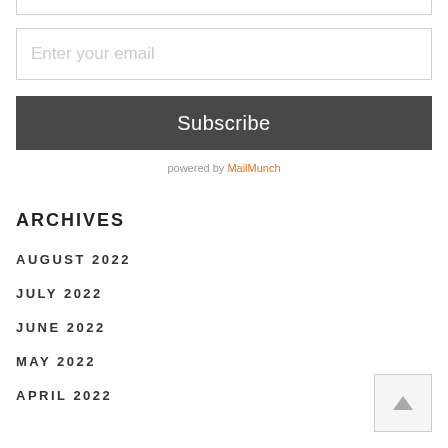Enter your email
Subscribe
powered by MailMunch
ARCHIVES
AUGUST 2022
JULY 2022
JUNE 2022
MAY 2022
APRIL 2022